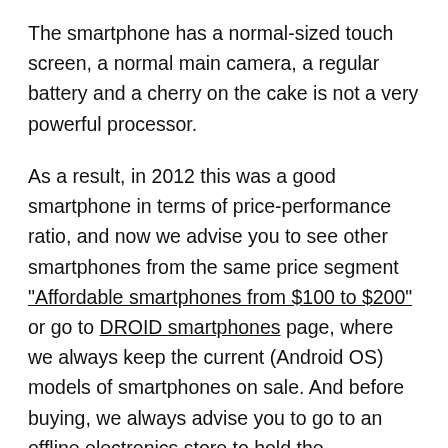The smartphone has a normal-sized touch screen, a normal main camera, a regular battery and a cherry on the cake is not a very powerful processor.
As a result, in 2012 this was a good smartphone in terms of price-performance ratio, and now we advise you to see other smartphones from the same price segment “Affordable smartphones from $100 to $200” or go to DROID smartphones page, where we always keep the current (Android OS) models of smartphones on sale. And before buying, we always advise you to go to an offline electronics store to hold the smartphone in your hands and be sure that you like it. Why do we advise so? Because creating this catalog of smartphones and filling it with photos of models, we are very well aware of the differences between beautiful selling photos from real smartphones which then the buyers hold in their